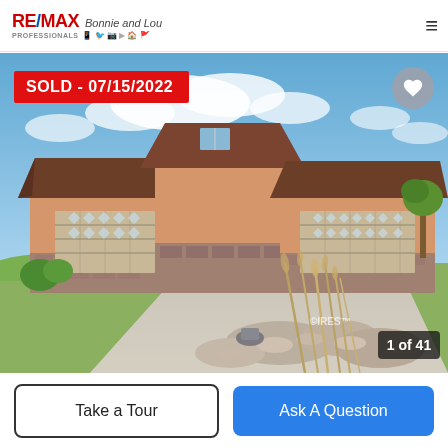RE/MAX Professionals — navigation header with logo and hamburger menu
[Figure (photo): Exterior photograph of a large stucco and stone ranch-style home with triple garage doors and wide concrete driveway, blue sky with clouds, xeriscaped front yard with ornamental grasses and rocks. Overlaid with 'SOLD - 07/15/2022' red banner top-left, heart/favorite icon top-right, IRES watermark and '1 of 41' photo counter bottom-right.]
SOLD - 07/15/2022
1 of 41
Take a Tour
Ask A Question